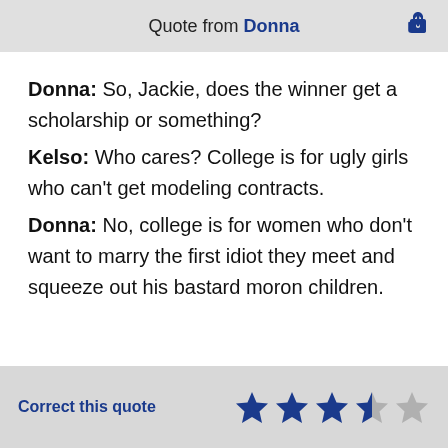Quote from Donna
Donna: So, Jackie, does the winner get a scholarship or something?
Kelso: Who cares? College is for ugly girls who can't get modeling contracts.
Donna: No, college is for women who don't want to marry the first idiot they meet and squeeze out his bastard moron children.
Correct this quote  ★★★★☆